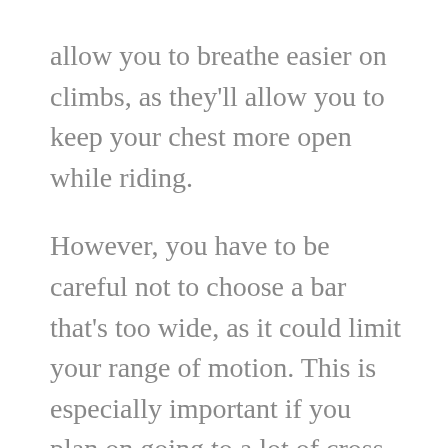allow you to breathe easier on climbs, as they'll allow you to keep your chest more open while riding.
However, you have to be careful not to choose a bar that's too wide, as it could limit your range of motion. This is especially important if you plan on going to a lot of cross country rides. An overly wide bar could also stretch out your bike's rider, making it lose stamina faster. Generally speaking, male DH and enduro riders tend to go with bars between 780-800mm, while